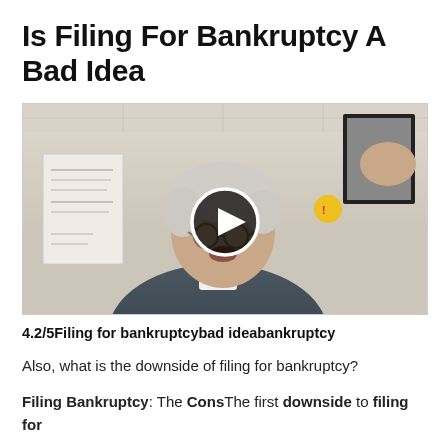Is Filing For Bankruptcy A Bad Idea
[Figure (screenshot): Video thumbnail showing an older man in a plaid shirt in an office setting, with a play button overlay indicating a video about filing for bankruptcy.]
4.2/5Filing for bankruptcybad ideabankruptcy
Also, what is the downside of filing for bankruptcy?
Filing Bankruptcy: The Cons The first downside to filing for